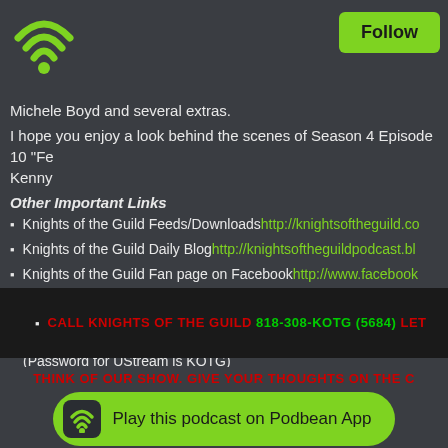[Figure (logo): Podbean WiFi/podcast logo (green wifi signal icon with dot)]
Follow
Michele Boyd and several extras.
I hope you enjoy a look behind the scenes of Season 4 Episode 10 “Fe… Kenny
Other Important Links
Knights of the Guild Feeds/Downloads http://knightsoftheguild.co…
Knights of the Guild Daily Blog http://knightsoftheguildpodcast.bl…
Knights of the Guild Fan page on Facebook http://www.facebook…
Knights of the Guild Group on Watchtheguild.com http://commun…
Knights of the Guild UStream Channel http://www.ustream.tv/cha… (Password for UStream is KOTG)
Follow us on twitter @knightsofguild
CALL KNIGHTS OF THE GUILD 818-308-KOTG (5684) LET…
THINK OF OUR SHOW. GIVE YOUR THOUGHTS ON THE C…
Play this podcast on Podbean App